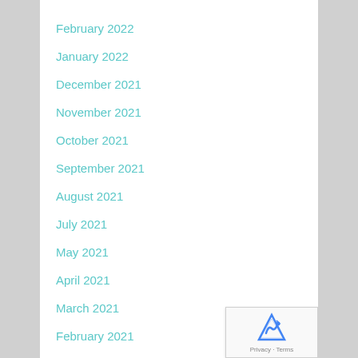February 2022
January 2022
December 2021
November 2021
October 2021
September 2021
August 2021
July 2021
May 2021
April 2021
March 2021
February 2021